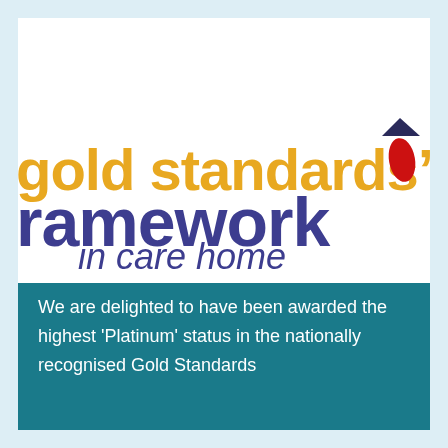[Figure (logo): Gold Standards Framework in care homes logo — 'gold standards' in gold/amber text, 'framework' in dark navy/purple, 'in care homes' in italic navy, with a red teardrop/flame symbol in top right]
We are delighted to have been awarded the highest 'Platinum' status in the nationally recognised Gold Standards